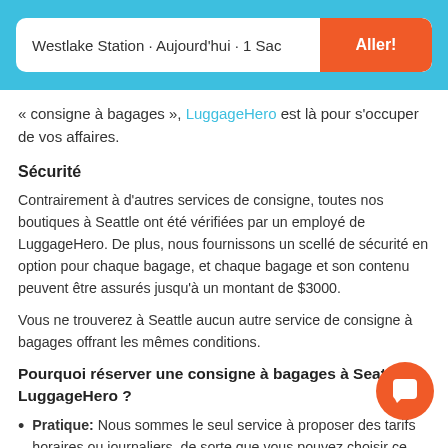Westlake Station · Aujourd'hui · 1 Sac
« consigne à bagages », LuggageHero est là pour s'occuper de vos affaires.
Sécurité
Contrairement à d'autres services de consigne, toutes nos boutiques à Seattle ont été vérifiées par un employé de LuggageHero. De plus, nous fournissons un scellé de sécurité en option pour chaque bagage, et chaque bagage et son contenu peuvent être assurés jusqu'à un montant de $3000.
Vous ne trouverez à Seattle aucun autre service de consigne à bagages offrant les mêmes conditions.
Pourquoi réserver une consigne à bagages à Seattle avec LuggageHero ?
Pratique: Nous sommes le seul service à proposer des tarifs horaires ou journaliers, de sorte que vous pouvez choisir ce